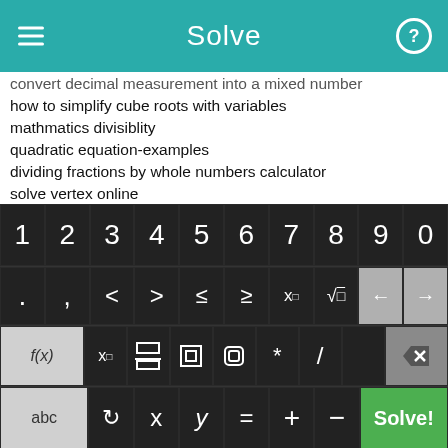Solve
convert decimal measurement into a mixed number
how to simplify cube roots with variables
mathmatics divisiblity
quadratic equation-examples
dividing fractions by whole numbers calculator
solve vertex online
how to add and subtract fraction but you type in your own awnswer
answers to the pre algebra calfornia edition book
glencoe math algerbra 7 th grade
[Figure (screenshot): Math keyboard with number row (1-0), symbol row (. , < > ≤ ≥ x□ √□ ← →), function row (f(x) x□ fraction absolute-value parentheses * / delete), and bottom row (abc ↺ x y = + − Solve! button)]